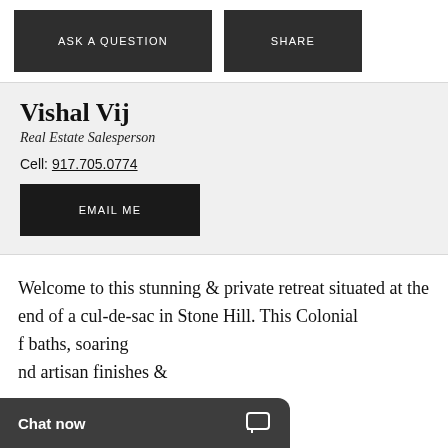ASK A QUESTION
SHARE
Vishal Vij
Real Estate Salesperson
Cell: 917.705.0774
EMAIL ME
Welcome to this stunning & private retreat situated at the end of a cul-de-sac in Stone Hill. This Colonial f baths, soaring nd artisan finishes &
Chat now